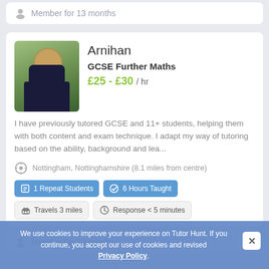Member for 13 months
Arnihan
GCSE Further Maths
£25 - £30 / hr
I have previously tutored GCSE and 11+ students, helping them with both content and exam technique. I adapt my way of tutoring based on the ability, background and lea...
Nottingham, Nottinghamshire (8.1 miles from centre)
1 Repeat Students
6 Hours Taught
Travels 3 miles
Response < 5 minutes
Member for 10 months
We use cookies to improve your experience on Tutor Hunt. If you continue, you accept our use of cookies and revised Privacy Policy.